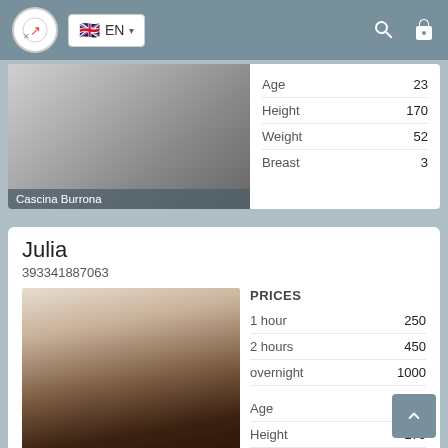EN (language selector, search, lock icons)
Cascina Burrona
|  |  |
| --- | --- |
| Age | 23 |
| Height | 170 |
| Weight | 52 |
| Breast | 3 |
Julia
393341887063
| PRICES |  |
| --- | --- |
| 1 hour | 250 |
| 2 hours | 450 |
| overnight | 1000 |
|  |  |
| --- | --- |
| Age | 25 |
| Height | 170 |
| Weight | 57 |
| Breast | 2 |